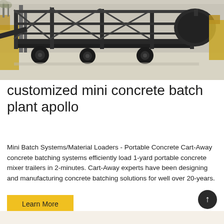[Figure (photo): Photo of a large dark-grey steel mobile concrete batch plant / equipment frame on wheels, parked outdoors in a yard with other machinery and equipment visible in the background.]
customized mini concrete batch plant apollo
Mini Batch Systems/Material Loaders - Portable Concrete Cart-Away concrete batching systems efficiently load 1-yard portable concrete mixer trailers in 2-minutes. Cart-Away experts have been designing and manufacturing concrete batching solutions for well over 20-years.